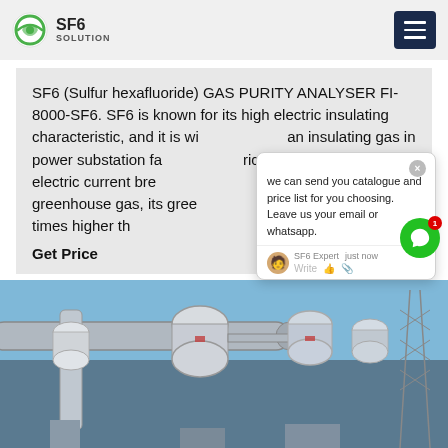SF6 SOLUTION — SF6 Monitoring and Analysis
SF6 (Sulfur hexafluoride) GAS PURITY ANALYSER FI-8000-SF6. SF6 is known for its high electric insulating characteristic, and it is widely used as an insulating gas in power substation facilities, electric transformers and electric current breakers. SF6 is also known as greenhouse gas, its greenhouse effect is regarded 23500 times higher than CO2.
Get Price
[Figure (photo): Industrial power substation equipment — large metal pipes, insulators, and electrical infrastructure against a blue sky]